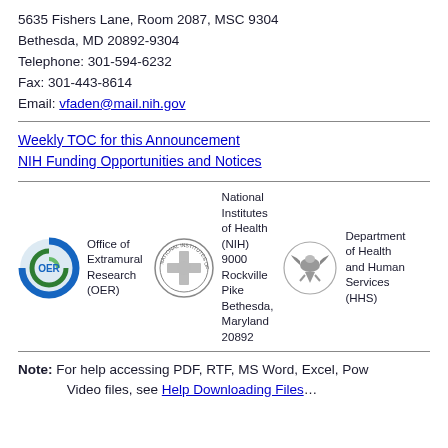5635 Fishers Lane, Room 2087, MSC 9304
Bethesda, MD 20892-9304
Telephone: 301-594-6232
Fax: 301-443-8614
Email: vfaden@mail.nih.gov
Weekly TOC for this Announcement
NIH Funding Opportunities and Notices
[Figure (logo): OER logo - blue and green circular logo with OER text]
Office of Extramural Research (OER)
[Figure (logo): National Institutes of Health circular seal/logo]
National Institutes of Health (NIH) 9000 Rockville Pike Bethesda, Maryland 20892
[Figure (logo): Department of Health and Human Services (HHS) eagle logo]
Department of Health and Human Services (HHS)
Note: For help accessing PDF, RTF, MS Word, Excel, Pow... Video files, see Help Downloading Files...